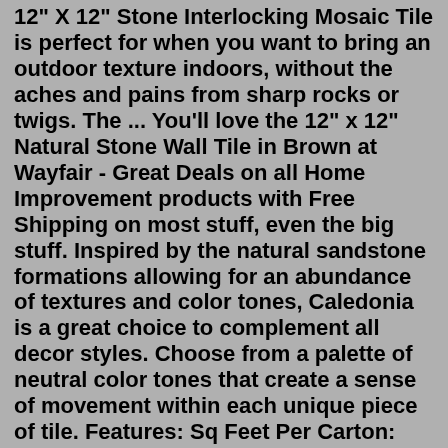12" X 12" Stone Interlocking Mosaic Tile is perfect for when you want to bring an outdoor texture indoors, without the aches and pains from sharp rocks or twigs. The ... You'll love the 12" x 12" Natural Stone Wall Tile in Brown at Wayfair - Great Deals on all Home Improvement products with Free Shipping on most stuff, even the big stuff. Inspired by the natural sandstone formations allowing for an abundance of textures and color tones, Caledonia is a great choice to complement all decor styles. Choose from a palette of neutral color tones that create a sense of movement within each unique piece of tile. Features: Sq Feet Per Carton: 14.55. Pieces Per Carton: 15. Features a beautiful stone visual inspired by the look of Italian Stone. Contains pre and post-consumer recycled materials.Eliane 12" x 12" Natural Stone Wall Tile in Brown | Wayfair Home Improvement / Flooring, Walls & Ceiling / Walls & Ceilings / Accent Tiles / Natural Stone Accent Tiles / SKU: FOSY1074 Sale Gris 12" x 12" Natural Stone Wall Tile in Brown (Set of 10) See More by Eliane 5.0 2 Reviews $4.50 ( $0.45